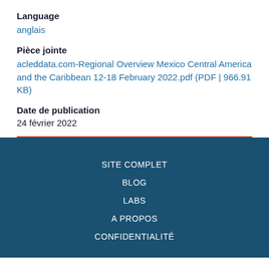Language
anglais
Pièce jointe
acleddata.com-Regional Overview Mexico Central America and the Caribbean 12-18 February 2022.pdf (PDF | 966.91 KB)
Date de publication
24 février 2022
SITE COMPLET
BLOG
LABS
A PROPOS
CONFIDENTIALITÉ